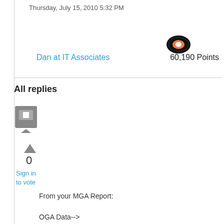Thursday, July 15, 2010 5:32 PM
Dan at IT Associates
60,190 Points
All replies
0
Sign in
to vote
From your MGA Report:

OGA Data-->
Office Status: 114 Blocked VLK 2
Microsoft Office Professional Edition
2003 - 114 Blocked VLK 2